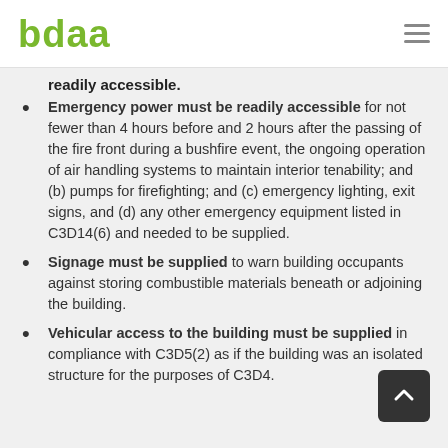bdaa
readily accessible.
Emergency power must be readily accessible for not fewer than 4 hours before and 2 hours after the passing of the fire front during a bushfire event, the ongoing operation of air handling systems to maintain interior tenability; and (b) pumps for firefighting; and (c) emergency lighting, exit signs, and (d) any other emergency equipment listed in C3D14(6) and needed to be supplied.
Signage must be supplied to warn building occupants against storing combustible materials beneath or adjoining the building.
Vehicular access to the building must be supplied in compliance with C3D5(2) as if the building was an isolated structure for the purposes of C3D4.